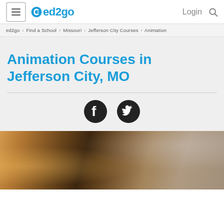ed2go — Login (navigation header with hamburger menu, logo, login, search)
ed2go > Find a School > Missouri > Jefferson City Courses > Animation
Animation Courses in Jefferson City, MO
[Figure (other): Facebook and Twitter social sharing icons (dark circular buttons)]
[Figure (photo): Photo of a person working at a desk with a tablet/stylus, blurred warm-toned background]